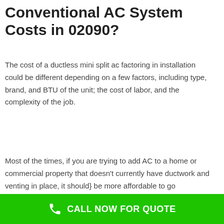Conventional AC System Costs in 02090?
The cost of a ductless mini split ac factoring in installation could be different depending on a few factors, including type, brand, and BTU of the unit; the cost of labor, and the complexity of the job.
Most of the times, if you are trying to add AC to a home or commercial property that doesn't currently have ductwork and venting in place, it should} be more affordable to go
CALL NOW FOR QUOTE